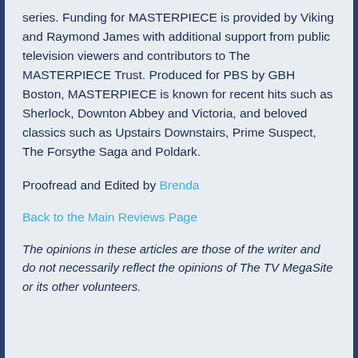series. Funding for MASTERPIECE is provided by Viking and Raymond James with additional support from public television viewers and contributors to The MASTERPIECE Trust. Produced for PBS by GBH Boston, MASTERPIECE is known for recent hits such as Sherlock, Downton Abbey and Victoria, and beloved classics such as Upstairs Downstairs, Prime Suspect, The Forsythe Saga and Poldark.
Proofread and Edited by Brenda
Back to the Main Reviews Page
The opinions in these articles are those of the writer and do not necessarily reflect the opinions of The TV MegaSite or its other volunteers.